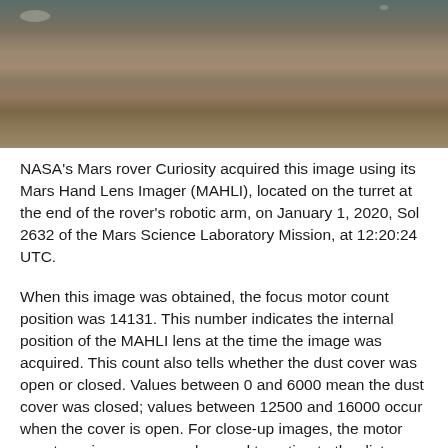[Figure (photo): Close-up photograph of Martian rock surface taken by NASA Curiosity rover's MAHLI instrument, showing rough brownish-grey rocky terrain texture.]
NASA's Mars rover Curiosity acquired this image using its Mars Hand Lens Imager (MAHLI), located on the turret at the end of the rover's robotic arm, on January 1, 2020, Sol 2632 of the Mars Science Laboratory Mission, at 12:20:24 UTC.
When this image was obtained, the focus motor count position was 14131. This number indicates the internal position of the MAHLI lens at the time the image was acquired. This count also tells whether the dust cover was open or closed. Values between 0 and 6000 mean the dust cover was closed; values between 12500 and 16000 occur when the cover is open. For close-up images, the motor count can in some cases be used to estimate the distance between the MAHLI lens and target. For example, in-focus images obtained with the dust cover open for which the lens...